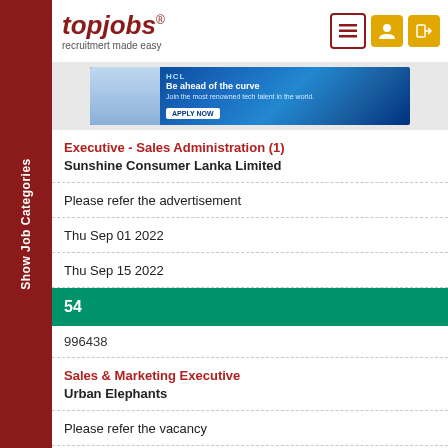[Figure (logo): topjobs logo - recruitment made easy]
[Figure (photo): HCL Technologies banner ad - Be ahead of the curve, Apply Now]
Executive - Sales Administration (1)
Sunshine Consumer Lanka Limited
Please refer the advertisement
Thu Sep 01 2022
Thu Sep 15 2022
54
996438
Sales & Marketing Executive
Urban Elephants
Please refer the vacancy
Thu Sep 01 2022